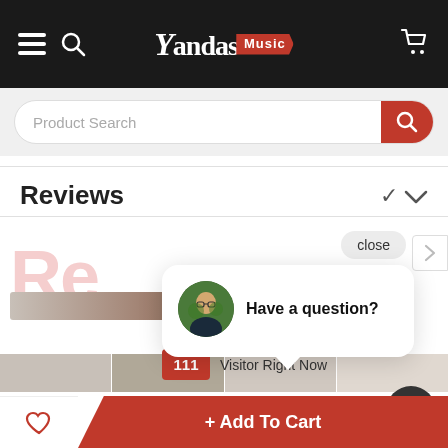[Figure (screenshot): Yandas Music website navigation bar with hamburger menu, search icon, logo, and cart icon on dark background]
Product Search
Reviews
[Figure (screenshot): Live chat popup overlay on product page showing avatar, 'Have a question?' text, 'close' button, visitor count badge '111 Visitor Right Now', and chat bubble button]
Have a question?
111 Visitor Right Now
close
+ Add To Cart